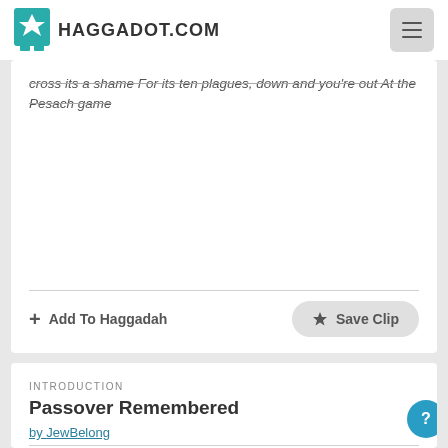HAGGADOT.COM
cross its a shame For its ten plagues, down and you're out At the Pesach game
+ Add To Haggadah
★ Save Clip
INTRODUCTION
Passover Remembered
by JewBelong
Pack Nothing. Bring only your determination to serve